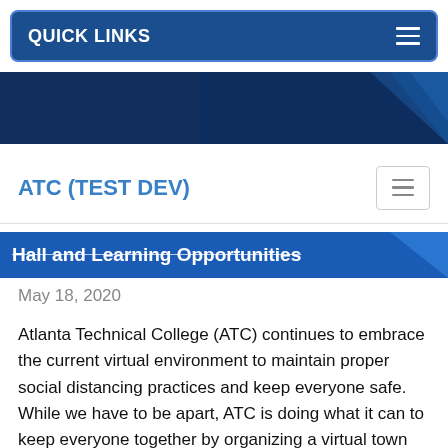QUICK LINKS
[Figure (screenshot): Dark blue banner with geometric triangle shapes on the right side]
ATC (TEST DEV)
Hall and Learning Opportunities
May 18, 2020
Atlanta Technical College (ATC) continues to embrace the current virtual environment to maintain proper social distancing practices and keep everyone safe.  While we have to be apart, ATC is doing what it can to keep everyone together by organizing a virtual town hall to address issues facing our communities. In addition to the virtual town...